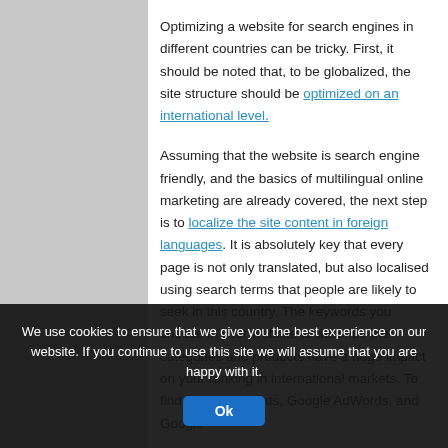Optimizing a website for search engines in different countries can be tricky. First, it should be noted that, to be globalized, the site structure should be optimized on an international level.
Assuming that the website is search engine friendly, and the basics of multilingual online marketing are already covered, the next step is to localize the site content in foreign languages. It is absolutely key that every page is not only translated, but also localised using search terms that people are likely to seek in this country. The keywords you choose in your website to describe the categories and products have a huge impact on your ranking in international markets. To find these keywords, Google AdWords, and Google
We use cookies to ensure that we give you the best experience on our website. If you continue to use this site we will assume that you are happy with it.